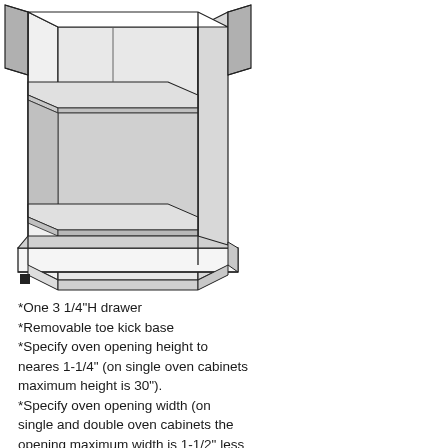[Figure (engineering-diagram): Isometric/perspective line drawing of a tall oven cabinet with two upper doors open, an open oven cavity in the middle, a bottom drawer pulled out slightly showing its interior, and a removable toe kick base at the bottom. The cabinet is drawn in black outlines with gray shading on interior surfaces and drawer face.]
*One 3 1/4"H drawer
*Removable toe kick base
*Specify oven opening height to neares 1-1/4" (on single oven cabinets maximum height is 30").
*Specify oven opening width (on single and double oven cabinets the opening maximum width is 1-1/2" less than the cabinet width).